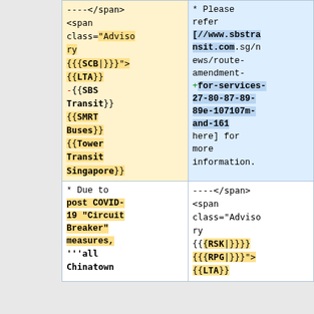| ----</span>
<span
class="Advisory
{{{SCB|}}}">{{LTA}}
-{{SBS Transit}}{{SMRT Buses}}{{Tower Transit Singapore}} | * Please refer [//www.sbstransit.com.sg/news/route-amendment-+for-services-27-80-87-89-89e-107107m-and-161 here] for more information. |
| * Due to post COVID-19 "Circuit Breaker" measures, '''all Chinatown | ----</span>
<span
class="Advisory
{{{RSK|}}} {{{RPG|}}}">{{LTA}} |